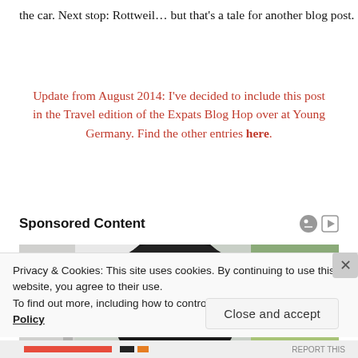the car. Next stop: Rottweil… but that's a tale for another blog post.
Update from August 2014: I've decided to include this post in the Travel edition of the Expats Blog Hop over at Young Germany. Find the other entries here.
Sponsored Content
[Figure (photo): A person wearing a dark cap and sunglasses viewed from train window, with trees and landscape in background, pink item visible at right.]
Privacy & Cookies: This site uses cookies. By continuing to use this website, you agree to their use.
To find out more, including how to control cookies, see here: Cookie Policy
Close and accept